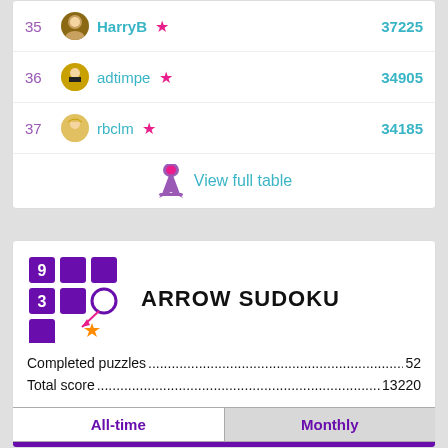| Rank | Player | Score |
| --- | --- | --- |
| 35 | HarryB ★ | 37225 |
| 36 | adtimpe ★ | 34905 |
| 37 | rbclm ★ | 34185 |
|  | View full table |  |
[Figure (logo): Arrow Sudoku game logo with purple grid tiles and orange star]
ARROW SUDOKU
Completed puzzles....................................................................52
Total score...............................................................................13220
| All-time | Monthly |
| --- | --- |
| Rank | Player | Total score |
| --- | --- | --- |
| 1 | zlakad ★ | 1672640 |